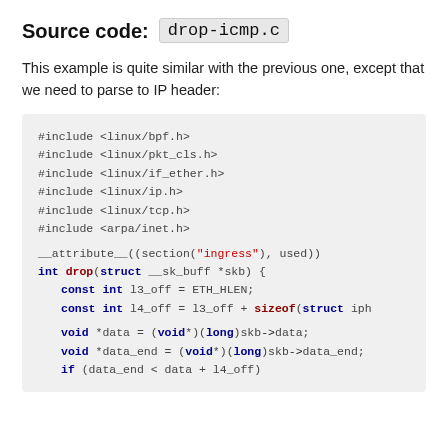Source code: drop-icmp.c
This example is quite similar with the previous one, except that we need to parse to IP header:
#include <linux/bpf.h>
#include <linux/pkt_cls.h>
#include <linux/if_ether.h>
#include <linux/ip.h>
#include <linux/tcp.h>
#include <arpa/inet.h>

__attribute__((section("ingress"), used))
int drop(struct __sk_buff *skb) {
    const int l3_off = ETH_HLEN;
    const int l4_off = l3_off + sizeof(struct iphe...

    void *data = (void*)(long)skb->data;
    void *data_end = (void*)(long)skb->data_end;
    if (data_end < data + l4_off)